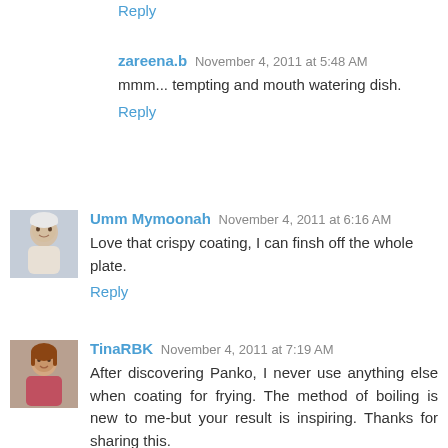Reply
zareena.b  November 4, 2011 at 5:48 AM
mmm... tempting and mouth watering dish.
Reply
[Figure (photo): Avatar of Umm Mymoonah - baby photo]
Umm Mymoonah  November 4, 2011 at 6:16 AM
Love that crispy coating, I can finsh off the whole plate.
Reply
[Figure (photo): Avatar of TinaRBK - woman photo]
TinaRBK  November 4, 2011 at 7:19 AM
After discovering Panko, I never use anything else when coating for frying. The method of boiling is new to me-but your result is inspiring. Thanks for sharing this.
Reply